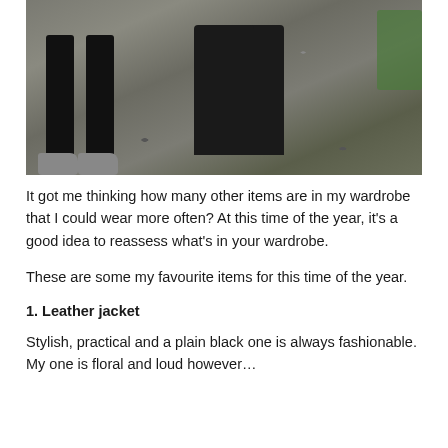[Figure (photo): Partial view of a person's legs in black trousers wearing silver/grey shoes standing on a gravel path with grass visible in the top right corner]
It got me thinking how many other items are in my wardrobe that I could wear more often? At this time of the year, it's a good idea to reassess what's in your wardrobe.
These are some my favourite items for this time of the year.
1. Leather jacket
Stylish, practical and a plain black one is always fashionable. My one is floral and loud however…